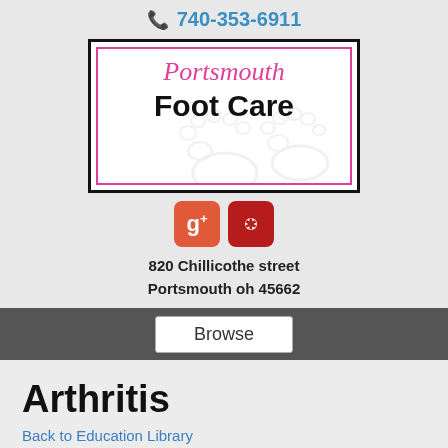740-353-6911
[Figure (logo): Portsmouth Foot Care logo — pink italic 'Portsmouth' above bold 'Foot Care', with faint footprint watermark, inside pink and black bordered box]
[Figure (other): Google Plus and Yelp social media icon buttons]
820 Chillicothe street
Portsmouth oh 45662
Browse
Arthritis
Back to Education Library
Arthritis is the inflammation of the